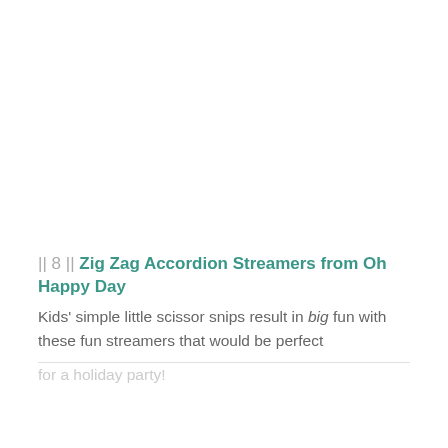|| 8 || Zig Zag Accordion Streamers from Oh Happy Day
Kids' simple little scissor snips result in big fun with these fun streamers that would be perfect for a holiday party!